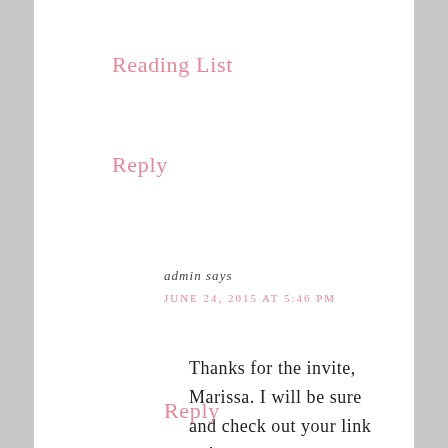Reading List
Reply
admin says
JUNE 24, 2015 AT 5:46 PM
Thanks for the invite, Marissa. I will be sure and check out your link up!
Reply